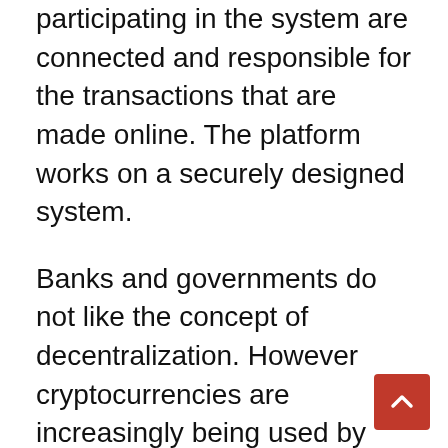participating in the system are connected and responsible for the transactions that are made online. The platform works on a securely designed system.
Banks and governments do not like the concept of decentralization. However cryptocurrencies are increasingly being used by people who have trust issues with banks, traditional payment methods, and other types of a middleman. The advantages of decentralized platforms include that the transactions you perform on the decentralized network are not noted or under the influence of the government. It done automatically (and anonymously by